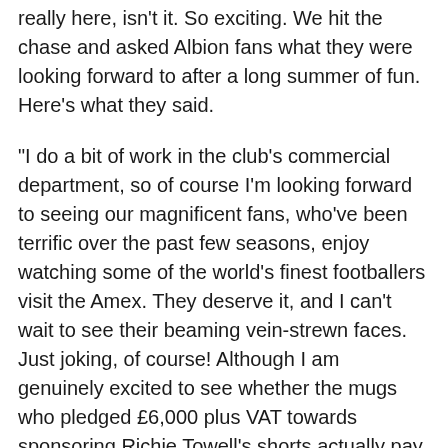really here, isn't it. So exciting. We hit the chase and asked Albion fans what they were looking forward to after a long summer of fun. Here's what they said.
"I do a bit of work in the club's commercial department, so of course I'm looking forward to seeing our magnificent fans, who've been terrific over the past few seasons, enjoy watching some of the world's finest footballers visit the Amex. They deserve it, and I can't wait to see their beaming vein-strewn faces. Just joking, of course! Although I am genuinely excited to see whether the mugs who pledged £6,000 plus VAT towards sponsoring Richie Towell's shorts actually pay up."
Eddie Ednut, Woodingdean
"All of it. The Premier League – it's the best league in the world, isn't it? You want to test yourself against the best. Manchester City will be a great first game. I think we'll probably lose that one. Real rags to riches, though. We've got much less money than them. And how about Palace home and away? It's a rivalry. And all the big stadiums – they're really big. Tony Bloom. He's our chairman. You couldn't ask for a better chairman. The new signings look